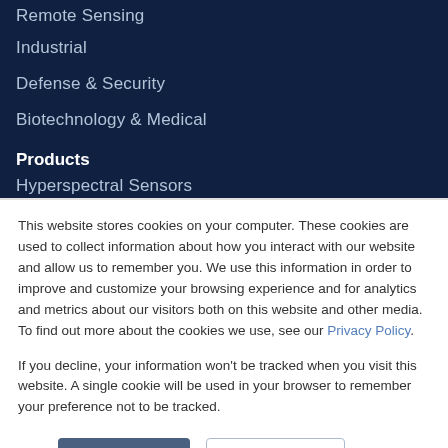Remote Sensing
Industrial
Defense & Security
Biotechnology & Medical
Products
Hyperspectral Sensors
This website stores cookies on your computer. These cookies are used to collect information about how you interact with our website and allow us to remember you. We use this information in order to improve and customize your browsing experience and for analytics and metrics about our visitors both on this website and other media. To find out more about the cookies we use, see our Privacy Policy.
If you decline, your information won't be tracked when you visit this website. A single cookie will be used in your browser to remember your preference not to be tracked.